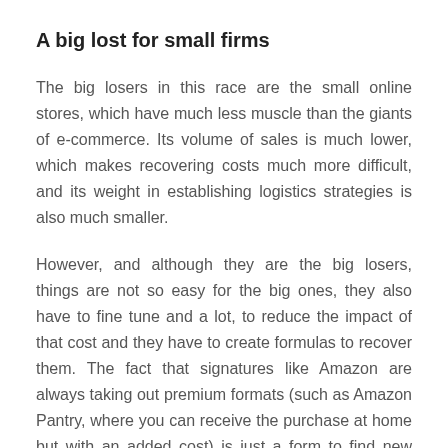A big lost for small firms
The big losers in this race are the small online stores, which have much less muscle than the giants of e-commerce. Its volume of sales is much lower, which makes recovering costs much more difficult, and its weight in establishing logistics strategies is also much smaller.
However, and although they are the big losers, things are not so easy for the big ones, they also have to fine tune and a lot, to reduce the impact of that cost and they have to create formulas to recover them. The fact that signatures like Amazon are always taking out premium formats (such as Amazon Pantry, where you can receive the purchase at home but with an added cost) is just a form to find new ways of financing something which is draining their accounts. Whether